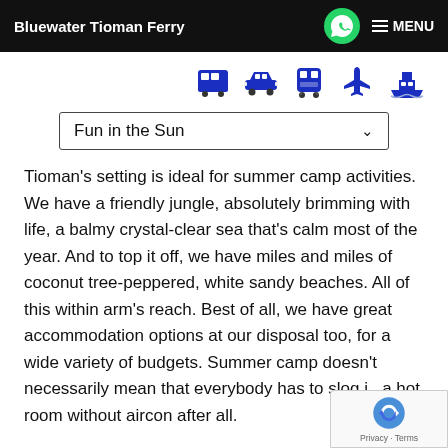Bluewater Tioman Ferry  [WhatsApp icon]  ☰ MENU
[Figure (illustration): Row of 5 blue transport icons: bus, car, train, airplane, ship]
Fun in the Sun  ∨
Tioman's setting is ideal for summer camp activities. We have a friendly jungle, absolutely brimming with life, a balmy crystal-clear sea that's calm most of the year. And to top it off, we have miles and miles of coconut tree-peppered, white sandy beaches. All of this within arm's reach. Best of all, we have great accommodation options at our disposal too, for a wide variety of budgets. Summer camp doesn't necessarily mean that everybody has to slog in a hot room without aircon after all.
[Figure (logo): reCAPTCHA badge with Privacy · Terms]